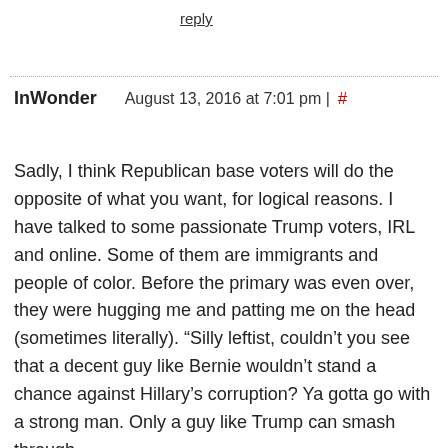reply
InWonder   August 13, 2016 at 7:01 pm | #
Sadly, I think Republican base voters will do the opposite of what you want, for logical reasons. I have talked to some passionate Trump voters, IRL and online. Some of them are immigrants and people of color. Before the primary was even over, they were hugging me and patting me on the head (sometimes literally). “Silly leftist, couldn’t you see that a decent guy like Bernie wouldn’t stand a chance against Hillary’s corruption? Ya gotta go with a strong man. Only a guy like Trump can smash through